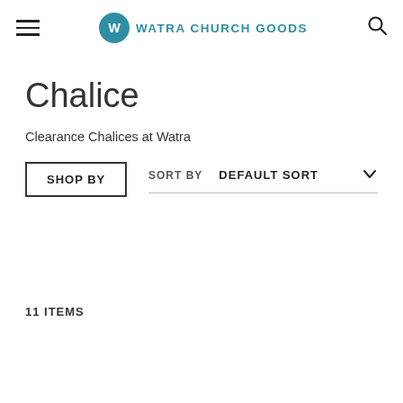WATRA CHURCH GOODS
Chalice
Clearance Chalices at Watra
SHOP BY   SORT BY   DEFAULT SORT
11 ITEMS